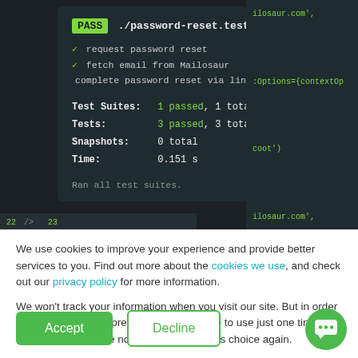[Figure (screenshot): Terminal output showing Jest test results for password-reset.test.js with PASS badge, 3 checkmarks for request password reset, fetch email from Mailosaur, complete password reset via link. Stats: Test Suites 1 passed 1 total, Tests 3 passed 3 total, Snapshots 0 total, Time 0.151 s. Ran all test suites.]
We use cookies to improve your experience and provide better services to you. Find out more about the cookies we use, and check out our privacy policy for more information.
We won't track your information when you visit our site. But in order to comply with your preferences, we'll have to use just one tiny cookie so that you're not asked to make this choice again.